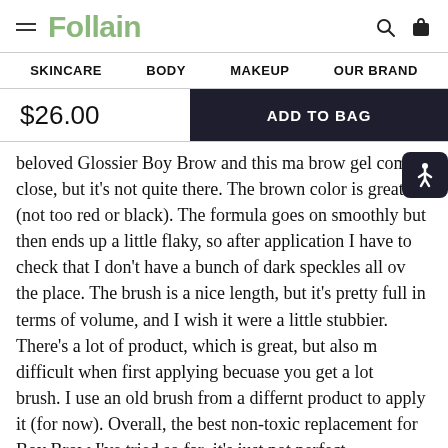Follain
SKINCARE   BODY   MAKEUP   OUR BRAND
$26.00   ADD TO BAG
beloved Glossier Boy Brow and this ma brow gel comes close, but it's not quite there. The brown color is great (not too red or black). The formula goes on smoothly but then ends up a little flaky, so after application I have to check that I don't have a bunch of dark speckles all ove the place. The brush is a nice length, but it's pretty full in terms of volume, and I wish it were a little stubbier. There's a lot of product, which is great, but also m difficult when first applying becuase you get a lot e brush. I use an old brush from a differnt product to apply it (for now). Overall, the best non-toxic replacement for Boy Brow I've tried so far–it's just not perfect.
Mark as helpful